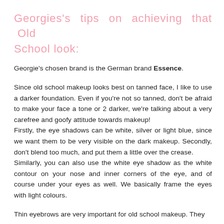Georgies's tips on achieving that Old School look:
Georgie's chosen brand is the German brand Essence.
Since old school makeup looks best on tanned face, I like to use a darker foundation. Even if you're not so tanned, don't be afraid to make your face a tone or 2 darker, we're talking about a very carefree and goofy attitude towards makeup! Firstly, the eye shadows can be white, silver or light blue, since we want them to be very visible on the dark makeup. Secondly, don't blend too much, and put them a little over the crease. Similarly, you can also use the white eye shadow as the white contour on your nose and inner corners of the eye, and of course under your eyes as well. We basically frame the eyes with light colours.
Thin eyebrows are very important for old school makeup. They